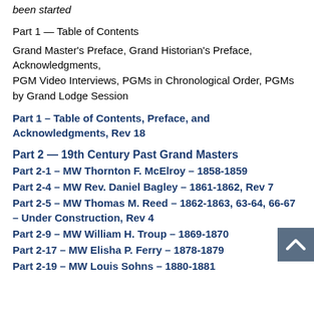been started
Part 1 — Table of Contents
Grand Master's Preface, Grand Historian's Preface, Acknowledgments,
PGM Video Interviews, PGMs in Chronological Order, PGMs by Grand Lodge Session
Part 1 – Table of Contents, Preface, and Acknowledgments, Rev 18
Part 2 — 19th Century Past Grand Masters
Part 2-1 – MW Thornton F. McElroy – 1858-1859
Part 2-4 – MW Rev. Daniel Bagley – 1861-1862, Rev 7
Part 2-5 – MW Thomas M. Reed – 1862-1863, 63-64, 66-67 – Under Construction, Rev 4
Part 2-9 – MW William H. Troup – 1869-1870
Part 2-17 – MW Elisha P. Ferry – 1878-1879
Part 2-19 – MW Louis Sohns – 1880-1881